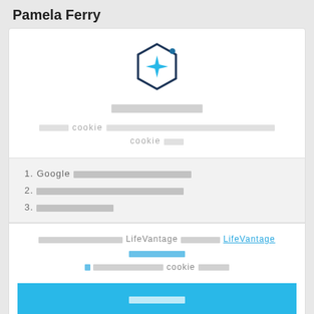Pamela Ferry
[Figure (logo): Hexagon icon with a blue plus/star symbol inside and a small dot on the upper right]
░░░░░░░░░ (cookie consent heading in non-Latin script)
░░░░░ cookie ░░░░░░░░░░░░░░░░░░░░░░░░ cookie ░░░
1. Google ░░░░░░░░░░░░░░░░░░░░░░░░
2. ░░░░░░░░░░░░░░░░░░░░░░░░░░░░░░
3. ░░░░░░░░░░░░░░
░░░░░░░░░░░░░░░ LifeVantage ░░░░░░░░░ LifeVantage ░░░░░░░░░░░░░░░░░░░░░░░░░░░░░░░░ cookie ░░░░░░
░░░░░░ (accept button)